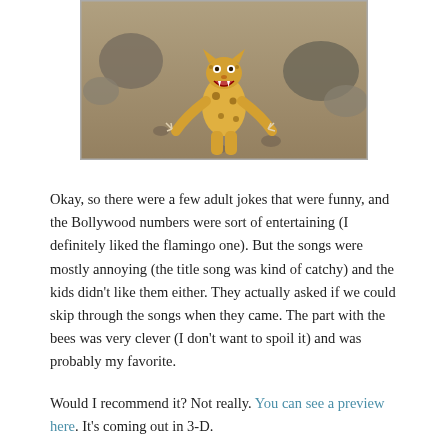[Figure (screenshot): Animated leopard/cheetah character running toward the viewer in a desert scene, from an animated movie (Kung Fu Panda style).]
Okay, so there were a few adult jokes that were funny, and the Bollywood numbers were sort of entertaining (I definitely liked the flamingo one). But the songs were mostly annoying (the title song was kind of catchy) and the kids didn't like them either. They actually asked if we could skip through the songs when they came. The part with the bees was very clever (I don't want to spoil it) and was probably my favorite.
Would I recommend it? Not really. You can see a preview here. It's coming out in 3-D.
HOLOCAUST ARCHIVES
Okay, so this one is not for the kids, but here's a 60 Minute piece about a long-secret German archive that houses a treasure trove of information on 17.5 million Holocaust victims. From an email someone sent me: "The archive, located in the German town of